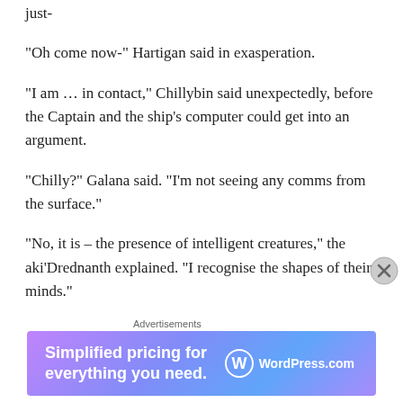just-
“Oh come now-” Hartigan said in exasperation.
“I am … in contact,” Chillybin said unexpectedly, before the Captain and the ship’s computer could get into an argument.
“Chilly?” Galana said. “I’m not seeing any comms from the surface.”
“No, it is – the presence of intelligent creatures,” the aki’Drednanth explained. “I recognise the shapes of their minds.”
“Oh,” Hartigan said excitedly, “I thought it usually took a
Advertisements
[Figure (other): WordPress.com advertisement banner: 'Simplified pricing for everything you need.' with WordPress.com logo]